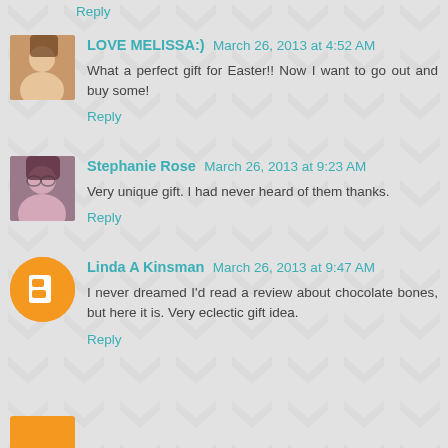Reply
LOVE MELISSA:) March 26, 2013 at 4:52 AM
What a perfect gift for Easter!! Now I want to go out and buy some!
Reply
Stephanie Rose March 26, 2013 at 9:23 AM
Very unique gift. I had never heard of them thanks.
Reply
Linda A Kinsman March 26, 2013 at 9:47 AM
I never dreamed I'd read a review about chocolate bones, but here it is. Very eclectic gift idea.
Reply